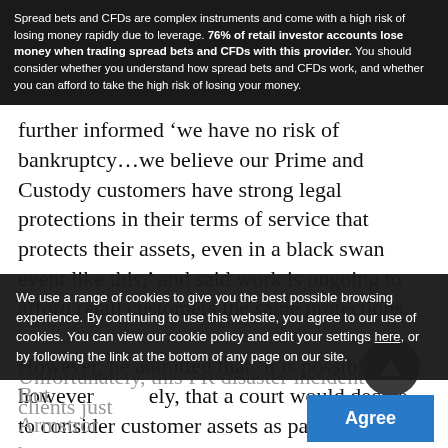Spread bets and CFDs are complex instruments and come with a high risk of losing money rapidly due to leverage. 76% of retail investor accounts lose money when trading spread bets and CFDs with this provider. You should consider whether you understand how spread bets and CFDs work, and whether you can afford to take the high risk of losing your money.
further informed ‘we have no risk of bankruptcy…we believe our Prime and Custody customers have strong legal protections in their terms of service that protects their assets, even in a black swan event like this,’ and said work is ongoing to afford retail customers the same protections.
However, he admitted that ‘it is possible, however unlikely, that a court would decide to consider customer assets as part of the company in bankruptcy proceedings.’
Unfortunately, this PR disaster incident set it clients just [partial - cut off]
But Armstrong has enthused that ‘there are [partial - cut off]
We use a range of cookies to give you the best possible browsing experience. By continuing to use this website, you agree to our use of cookies. You can view our cookie policy and edit your settings here, or by following the link at the bottom of any page on our site.